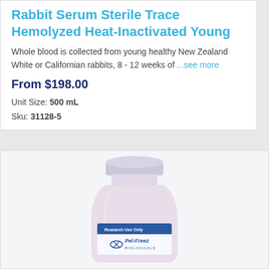Rabbit Serum Sterile Trace Hemolyzed Heat-Inactivated Young
Whole blood is collected from young healthy New Zealand White or Californian rabbits, 8 - 12 weeks of ...see more
From $198.00
Unit Size: 500 mL
Sku: 31128-5
[Figure (photo): A white/light lavender plastic bottle with a screw cap labeled with Pel-Freez Biologicals branding and 'Research Use Only' tag, containing rabbit serum product.]